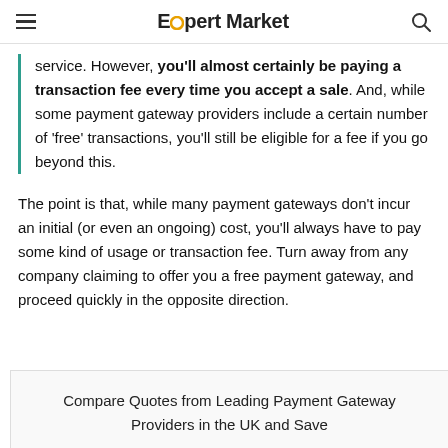Expert Market
service. However, you'll almost certainly be paying a transaction fee every time you accept a sale. And, while some payment gateway providers include a certain number of ‘free’ transactions, you’ll still be eligible for a fee if you go beyond this.
The point is that, while many payment gateways don’t incur an initial (or even an ongoing) cost, you’ll always have to pay some kind of usage or transaction fee. Turn away from any company claiming to offer you a free payment gateway, and proceed quickly in the opposite direction.
Compare Quotes from Leading Payment Gateway Providers in the UK and Save